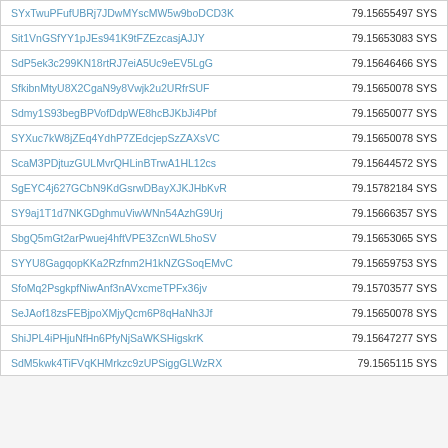| ID | Value | Type |
| --- | --- | --- |
| SYxTwuPFufUBRj7JDwMYscMW5w9boDCD3K | 79.15655497 | SYS |
| Sit1VnGSfYY1pJEs941K9tFZEzcasjAJJY | 79.15653083 | SYS |
| SdP5ek3c299KN18rtRJ7eiA5Uc9eEV5LgG | 79.15646466 | SYS |
| SfkibnMtyU8X2CgaN9y8Vwjk2u2URfrSUF | 79.15650078 | SYS |
| Sdmy1S93begBPVofDdpWE8hcBJKbJi4Pbf | 79.15650077 | SYS |
| SYXuc7kW8jZEq4YdhP7ZEdcjepSzZAXsVC | 79.15650078 | SYS |
| ScaM3PDjtuzGULMvrQHLinBTrwA1HL12cs | 79.15644572 | SYS |
| SgEYC4j627GCbN9KdGsrwDBayXJKJHbKvR | 79.15782184 | SYS |
| SY9aj1T1d7NKGDghmuViwWNn54AzhG9Urj | 79.15666357 | SYS |
| SbgQ5mGt2arPwuej4hftVPE3ZcnWL5hoSV | 79.15653065 | SYS |
| SYYU8GagqopKKa2Rzfnm2H1kNZGSoqEMvC | 79.15659753 | SYS |
| SfoMq2PsgkpfNiwAnf3nAVxcmeTPFx36jv | 79.15703577 | SYS |
| SeJAof18zsFEBjpoXMjyQcm6P8qHaNh3Jf | 79.15650078 | SYS |
| ShiJPL4iPHjuNfHn6PfyNjSaWKSHigskrK | 79.15647277 | SYS |
| SdM5kwk4TiFVqKHMrkzc9zUPSiggGLWzRX | 79.1565115 | SYS |